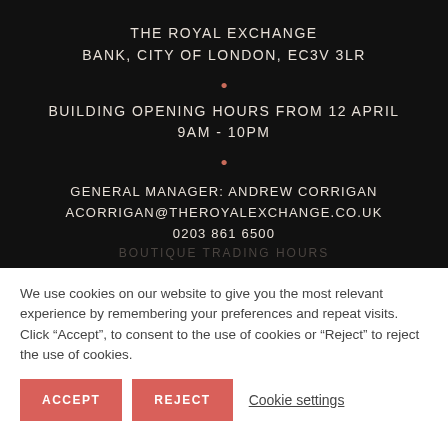THE ROYAL EXCHANGE
BANK, CITY OF LONDON, EC3V 3LR
BUILDING OPENING HOURS FROM 12 APRIL
9AM - 10PM
GENERAL MANAGER: ANDREW CORRIGAN
ACORRIGAN@THEROYALEXCHANGE.CO.UK
0203 861 6500
BOUTIQUE TRADING HOURS
We use cookies on our website to give you the most relevant experience by remembering your preferences and repeat visits. Click “Accept”, to consent to the use of cookies or "Reject" to reject the use of cookies.
ACCEPT
REJECT
Cookie settings